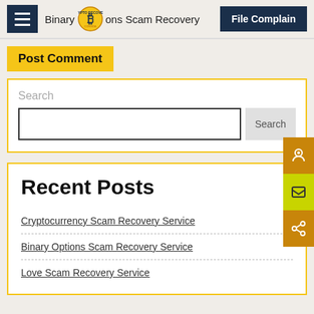Binary Options Scam Recovery | File Complain
Post Comment
Search
Recent Posts
Cryptocurrency Scam Recovery Service
Binary Options Scam Recovery Service
Love Scam Recovery Service